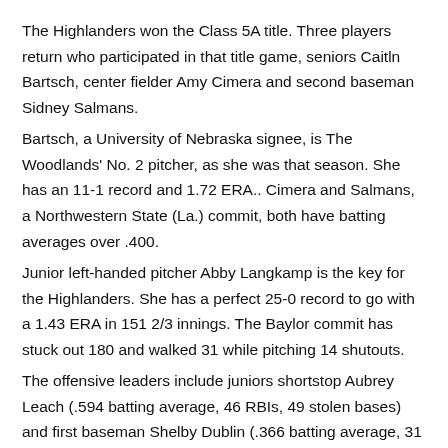The Highlanders won the Class 5A title. Three players return who participated in that title game, seniors Caitln Bartsch, center fielder Amy Cimera and second baseman Sidney Salmans.
Bartsch, a University of Nebraska signee, is The Woodlands' No. 2 pitcher, as she was that season. She has an 11-1 record and 1.72 ERA.. Cimera and Salmans, a Northwestern State (La.) commit, both have batting averages over .400.
Junior left-handed pitcher Abby Langkamp is the key for the Highlanders. She has a perfect 25-0 record to go with a 1.43 ERA in 151 2/3 innings. The Baylor commit has stuck out 180 and walked 31 while pitching 14 shutouts.
The offensive leaders include juniors shortstop Aubrey Leach (.594 batting average, 46 RBIs, 49 stolen bases) and first baseman Shelby Dublin (.366 batting average, 31 RBIs). Dublin is another Highlander who has chosen Northwestern State as a college destination. Leah has committed to the University of Tennessee.
Other players to watch include Leach's sister, freshman Kelcy Leach, and junior third baseman Kaitlin Stavinoha .(440 batting average, 46